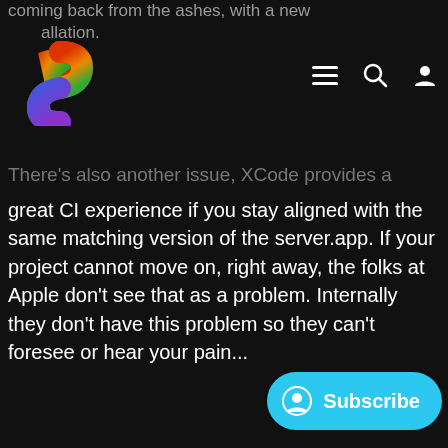coming back from the ashes, with a new installation.
[Figure (logo): Colorful S-shaped logo in red, yellow, green, and blue/purple gradient on dark background]
There's also another issue, XCode provides a great CI experience if you stay aligned with the same matching version of the server.app. If your project cannot move on, right away, the folks at Apple don't see that as a problem. Internally they don't have this problem so they can't foresee or hear your pain...
That's when you start looking for another way of doing the same thing, with less pain, more portability and basically for free. O server app is just $20 every year, getting that to work the limited way it should be is worth a lot more.